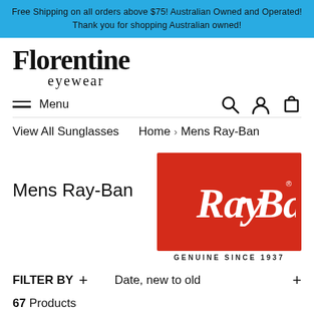Free Shipping on all orders above $75! Australian Owned and Operated! Thank you for shopping Australian owned!
[Figure (logo): Florentine Eyewear logo in serif black text]
≡ Menu
[Figure (illustration): Search, Account, and Cart icons in navigation bar]
View All Sunglasses   Home › Mens Ray-Ban
Mens Ray-Ban
[Figure (logo): Ray-Ban logo on red background with text GENUINE SINCE 1937 below]
FILTER BY  +   Date, new to old  +
67 Products